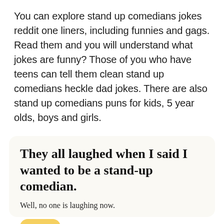You can explore stand up comedians jokes reddit one liners, including funnies and gags. Read them and you will understand what jokes are funny? Those of you who have teens can tell them clean stand up comedians heckle dad jokes. There are also stand up comedians puns for kids, 5 year olds, boys and girls.
They all laughed when I said I wanted to be a stand-up comedian.
Well, no one is laughing now.